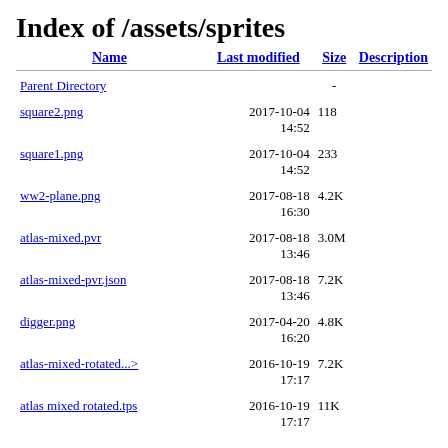Index of /assets/sprites
| Name | Last modified | Size | Description |
| --- | --- | --- | --- |
| Parent Directory |  | - |  |
| square2.png | 2017-10-04 14:52 | 118 |  |
| square1.png | 2017-10-04 14:52 | 233 |  |
| ww2-plane.png | 2017-08-18 16:30 | 4.2K |  |
| atlas-mixed.pvr | 2017-08-18 13:46 | 3.0M |  |
| atlas-mixed-pvr.json | 2017-08-18 13:46 | 7.2K |  |
| digger.png | 2017-04-20 16:20 | 4.8K |  |
| atlas-mixed-rotated...> | 2016-10-19 17:17 | 7.2K |  |
| atlas mixed rotated.tps | 2016-10-19 17:17 | 11K |  |